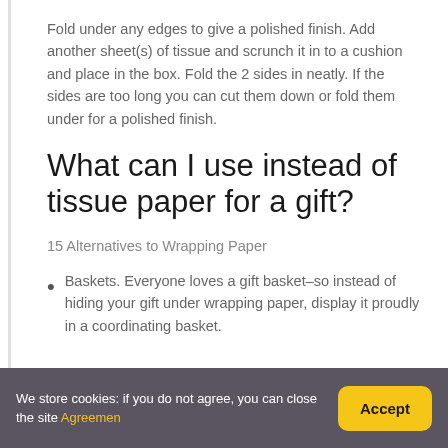Fold under any edges to give a polished finish. Add another sheet(s) of tissue and scrunch it in to a cushion and place in the box. Fold the 2 sides in neatly. If the sides are too long you can cut them down or fold them under for a polished finish.
What can I use instead of tissue paper for a gift?
15 Alternatives to Wrapping Paper
Baskets. Everyone loves a gift basket–so instead of hiding your gift under wrapping paper, display it proudly in a coordinating basket.
We store cookies: if you do not agree, you can close the site Agreemen